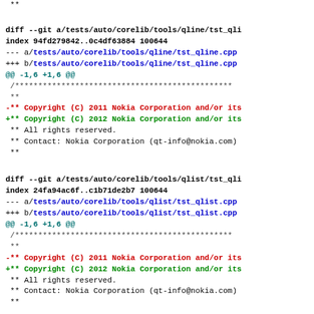**
diff --git a/tests/auto/corelib/tools/qline/tst_qli...
index 94fd279842..0c4df63884 100644
--- a/tests/auto/corelib/tools/qline/tst_qline.cpp
+++ b/tests/auto/corelib/tools/qline/tst_qline.cpp
@@ -1,6 +1,6 @@
 /***********************************************...
 **
 -** Copyright (C) 2011 Nokia Corporation and/or its
 +** Copyright (C) 2012 Nokia Corporation and/or its
  ** All rights reserved.
  ** Contact: Nokia Corporation (qt-info@nokia.com)
  **
diff --git a/tests/auto/corelib/tools/qlist/tst_qli...
index 24fa94ac6f..c1b71de2b7 100644
--- a/tests/auto/corelib/tools/qlist/tst_qlist.cpp
+++ b/tests/auto/corelib/tools/qlist/tst_qlist.cpp
@@ -1,6 +1,6 @@
 /***********************************************...
 **
 -** Copyright (C) 2011 Nokia Corporation and/or its
 +** Copyright (C) 2012 Nokia Corporation and/or its
  ** All rights reserved.
  ** Contact: Nokia Corporation (qt-info@nokia.com)
  **
diff --git a/tests/auto/corelib/tools/qlocale/syslo...
index 030fc4a728..2b6280fd2b 100644
--- a/tests/auto/corelib/tools/qlocale/syslocale...